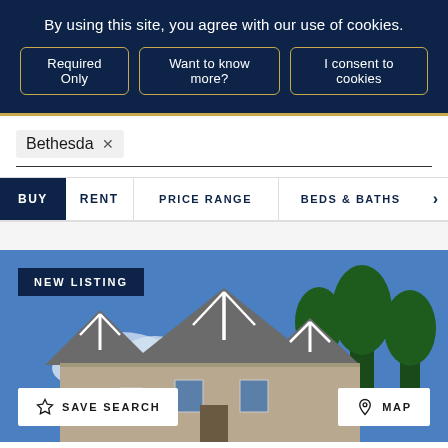By using this site, you agree with our use of cookies.
Required Only
Want to know more?
I consent to cookies
Bethesda ×
BUY
RENT
PRICE RANGE
BEDS & BATHS
[Figure (photo): Exterior photo of a large craftsman-style home with gabled roof, gray siding, and white trim against a blue sky with trees]
NEW LISTING
SAVE SEARCH
MAP